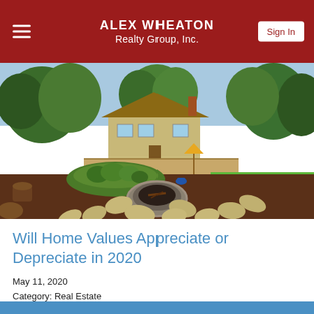ALEX WHEATON Realty Group, Inc.
[Figure (photo): Backyard of a house with a circular stone fire pit, stepping stones, garden beds, large green lawn, and a deck with patio furniture. Trees surround the property.]
Will Home Values Appreciate or Depreciate in 2020
May 11, 2020
Category: Real Estate